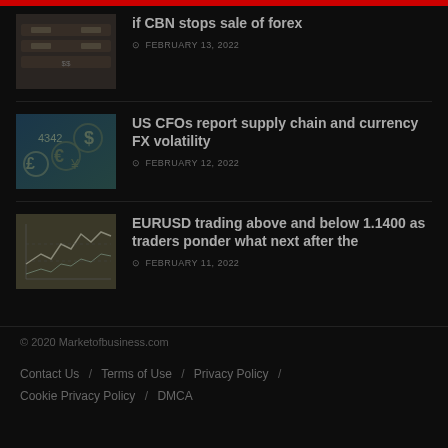if CBN stops sale of forex
FEBRUARY 13, 2022
US CFOs report supply chain and currency FX volatility
FEBRUARY 12, 2022
EURUSD trading above and below 1.1400 as traders ponder what next after the
FEBRUARY 11, 2022
© 2020 Marketofbusiness.com
Contact Us / Terms of Use / Privacy Policy / Cookie Privacy Policy / DMCA